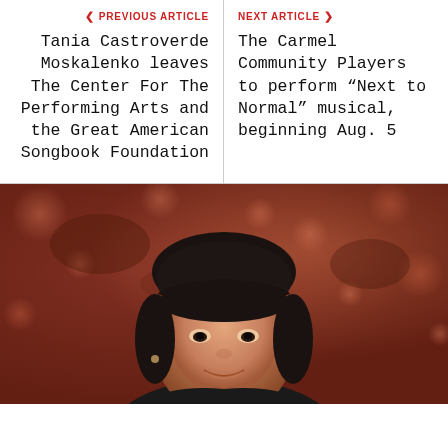< PREVIOUS ARTICLE
NEXT ARTICLE >
Tania Castroverde Moskalenko leaves The Center For The Performing Arts and the Great American Songbook Foundation
The Carmel Community Players to perform “Next to Normal” musical, beginning Aug. 5
[Figure (photo): Portrait photo of a woman with short dark hair and bangs, smiling, against a blurred reddish-brown bokeh background]